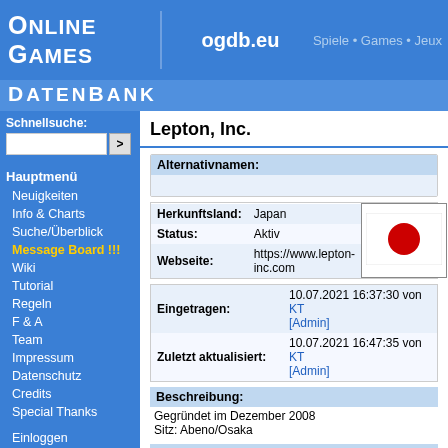Online Games DatenBank — ogdb.eu — Spiele • Games • Jeux
Schnellsuche:
Hauptmenü
Neuigkeiten
Info & Charts
Suche/Überblick
Message Board !!!
Wiki
Tutorial
Regeln
F & A
Team
Impressum
Datenschutz
Credits
Special Thanks
Einloggen
Lepton, Inc.
| Alternativnamen |  |
| --- | --- |
|  | （日本語名） |
| Herkunftsland | Japan |
| --- | --- |
| Status | Aktiv |
| Webseite | https://www.lepton-inc.com |
| Eingetragen | 10.07.2021 16:37:30 von KT [Admin] |
| --- | --- |
| Zuletzt aktualisiert | 10.07.2021 16:47:35 von KT [Admin] |
Beschreibung:
Gegründet im Dezember 2008
Sitz: Abeno/Osaka
Logo(s):
[Figure (logo): Lepton Inc. company logo with circular icon and text 'Lepton, Inc.']